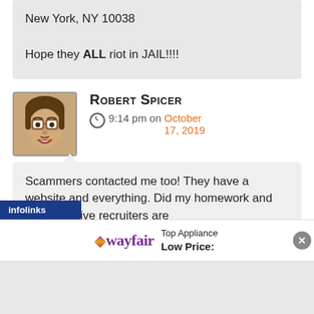New York, NY 10038

Hope they ALL riot in JAIL!!!!
Robert Spicer
9:14 pm on October 17, 2019
Scammers contacted me too! They have a website and everything. Did my homework and the executive recruiters are
[Figure (illustration): Animated cartoon avatar of a person with brown hair and glasses with an open mouth expression]
infolinks
[Figure (logo): Wayfair advertisement banner: Top Appliance Low Price:]